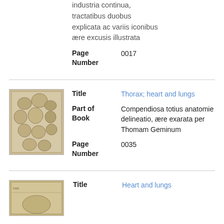industria continua, tractatibus duobus explicata ac variis iconibus ære excusis illustrata
Page Number   0017
Title   Thorax; heart and lungs
Part of Book   Compendiosa totius anatomie delineatio, ære exarata per Thomam Geminum
Page Number   0035
Title   Heart and lungs